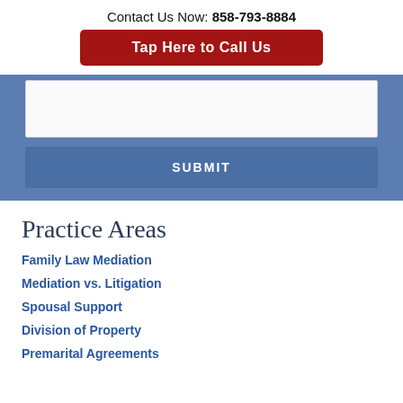Contact Us Now: 858-793-8884
Tap Here to Call Us
[Figure (screenshot): Web form with text input area and submit button on blue background]
Practice Areas
Family Law Mediation
Mediation vs. Litigation
Spousal Support
Division of Property
Premarital Agreements